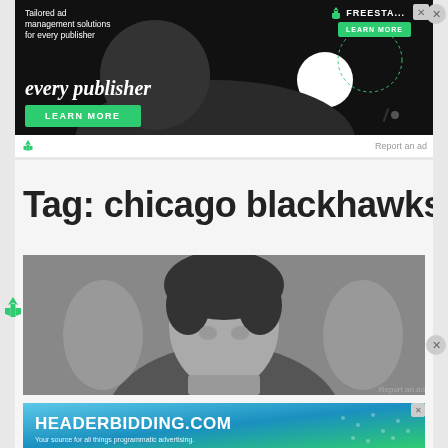[Figure (infographic): Dark-themed ad banner for Freestar with text 'Tailored ad management solutions for every publisher', a character illustration, green LEARN MORE button, and Freestar logo]
Report an ad
Tag: chicago blackhawks
[Figure (photo): Black and white photo of a person with curly dark hair, appears to be a hockey player or coach]
Report an ad
[Figure (infographic): Headerbidding.com advertisement with gradient blue-green background. Text: HEADERBIDDING.COM, Your source for all things programmatic advertising.]